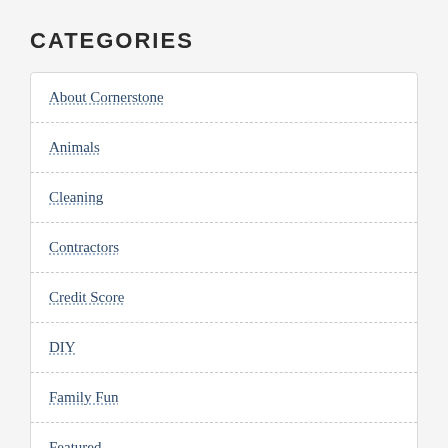CATEGORIES
About Cornerstone
Animals
Cleaning
Contractors
Credit Score
DIY
Family Fun
Featured
Finance